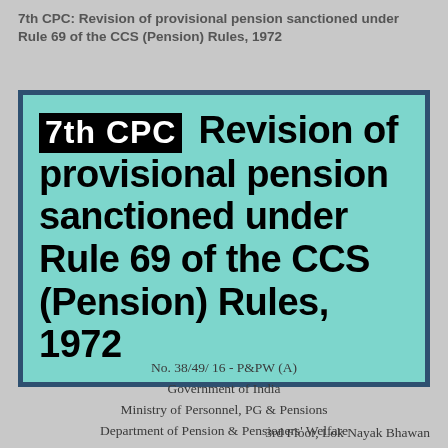7th CPC: Revision of provisional pension sanctioned under Rule 69 of the CCS (Pension) Rules, 1972
7th CPC Revision of provisional pension sanctioned under Rule 69 of the CCS (Pension) Rules, 1972
No. 38/49/ 16 - P&PW (A)
Government of India
Ministry of Personnel, PG & Pensions
Department of Pension & Pensioners' Welfare
3rd Floor, Lok Nayak Bhawan